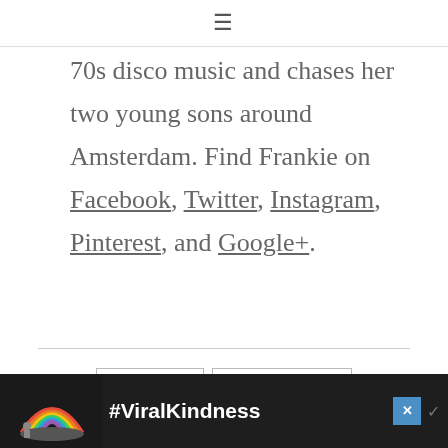≡
70s disco music and chases her two young sons around Amsterdam. Find Frankie on Facebook, Twitter, Instagram, Pinterest, and Google+.
TRAVEL    FOOD LOVE
[Figure (infographic): Advertisement banner with rainbow illustration and #ViralKindness text on dark background]